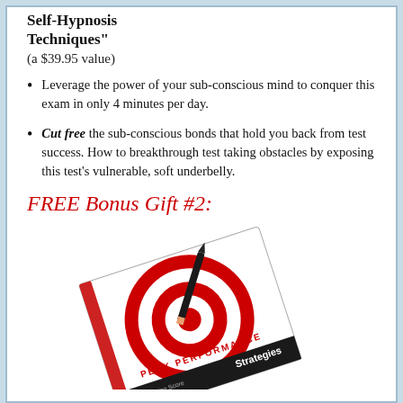Self-Hypnosis Techniques" (a $39.95 value)
Leverage the power of your sub-conscious mind to conquer this exam in only 4 minutes per day.
Cut free the sub-conscious bonds that hold you back from test success. How to breakthrough test taking obstacles by exposing this test's vulnerable, soft underbelly.
FREE Bonus Gift #2:
[Figure (photo): Book cover showing a red and white bullseye target with a pencil, titled 'PEAK PERFORMANCE Strategies' with 'Passing Score' and 'Test' visible on the cover.]